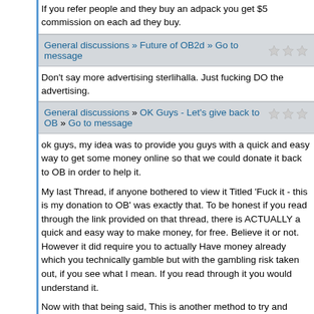If you refer people and they buy an adpack you get $5 commission on each ad they buy.
General discussions » Future of OB2d » Go to message
Don't say more advertising sterlihalla. Just fucking DO the advertising.
General discussions » OK Guys - Let's give back to OB » Go to message
ok guys, my idea was to provide you guys with a quick and easy way to get some money online so that we could donate it back to OB in order to help it.

My last Thread, if anyone bothered to view it Titled 'Fuck it - this is my donation to OB' was exactly that. To be honest if you read through the link provided on that thread, there is ACTUALLY a quick and easy way to make money, for free. Believe it or not. However it did require you to actually Have money already which you technically gamble but with the gambling risk taken out, if you see what I mean. If you read through it you would understand it.

Now with that being said, This is another method to try and make some money which does NOT necessarily require you to have money already.
https://trafficmonsoon.com/?ref=SeanDouglas9
Clicking on this link is my referral page, it is a link to the website acknowledging it is me who referred you, providing you with information on how to try and make...